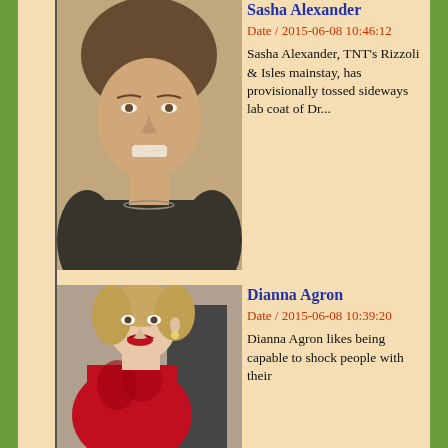[Figure (photo): Photo of Sasha Alexander, smiling woman with short brown hair wearing a black top]
Sasha Alexander
Date / 2015-06-08 10:46:12
Sasha Alexander, TNT's Rizzoli & Isles mainstay, has provisionally tossed sideways lab coat of Dr...
[Figure (photo): Photo of Dianna Agron, woman with blonde hair wearing a red lace top]
Dianna Agron
Date / 2015-06-08 10:39:20
Dianna Agron likes being capable to shock people with their